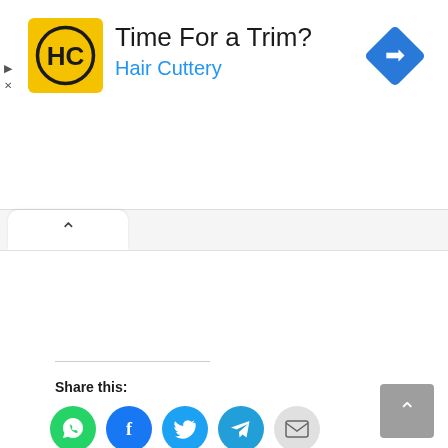[Figure (screenshot): Advertisement banner for Hair Cuttery. Yellow square logo with HC monogram in black circle, text 'Time For a Trim?' in dark gray, 'Hair Cuttery' in blue, blue diamond navigation icon on the right. Small play and X icons on the left edge.]
[Figure (screenshot): Web page UI element: a tab or panel with an upward caret (collapse arrow) on a white rounded tab, followed by a large white content area, then a horizontal rule, 'Share this:' label in bold, and five circular social share buttons (WhatsApp green, Facebook blue, Twitter cyan, Telegram blue, Email gray), plus a gray scroll-to-top button with upward caret at bottom right.]